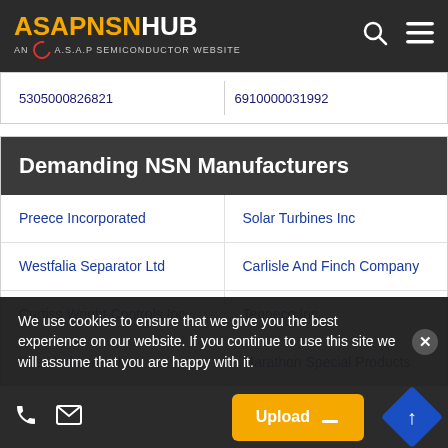ASAPNSNHUB AN A.S.A.P SEMICONDUCTOR WEBSITE
5305000826821   6910000031992
| Demanding NSN Manufacturers |  |
| --- | --- |
| Preece Incorporated | Solar Turbines Inc |
| Westfalia Separator Ltd | Carlisle And Finch Company |
| Curtiss Wright Controls Inc | Tenneco Inc |
| Voss Industries Inc | Marathon Special Products |
|  | Sunnen Products |
We use cookies to ensure that we give you the best experience on our website. If you continue to use this site we will assume that you are happy with it.
Upload